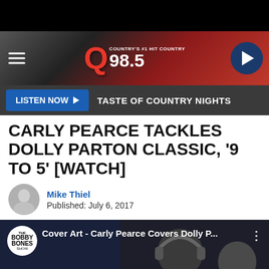[Figure (screenshot): Q98.5 radio station header banner with logo, hamburger menu, and play button circle]
LISTEN NOW ▶  TASTE OF COUNTRY NIGHTS
CARLY PEARCE TACKLES DOLLY PARTON CLASSIC, '9 TO 5' [WATCH]
Mike Thiel
Published: July 6, 2017
[Figure (screenshot): YouTube video thumbnail: Cover Art - Carly Pearce Covers Dolly P... with Bobby Bones Show logo and YouTube play button]